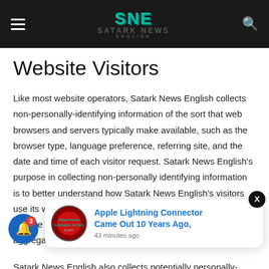SNE Satark News English
Website Visitors
Like most website operators, Satark News English collects non-personally-identifying information of the sort that web browsers and servers typically make available, such as the browser type, language preference, referring site, and the date and time of each visitor request. Satark News English's purpose in collecting non-personally identifying information is to better understand how Satark News English's visitors use its website. From time to time, Satark News English may release non-personally-identifying information in the aggregate, e.g., b... website.
[Figure (screenshot): Notification popup showing 'Apple Lightning Connector Came Out 10 Years Ago,' with Satark News English logo and timestamp '43 minutes ago']
Satark News English also collects potentially personally-